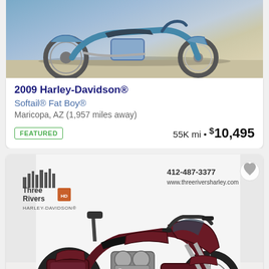[Figure (photo): Top portion of a blue Harley-Davidson motorcycle listing photo showing the bike from front/side angle on a paved surface]
2009 Harley-Davidson®
Softail® Fat Boy®
Maricopa, AZ (1,957 miles away)
FEATURED
55K mi • $10,495
[Figure (photo): A dark maroon/burgundy Harley-Davidson Street Glide motorcycle photographed against a white backdrop at a dealership (Three Rivers Harley-Davidson). Phone: 412-487-3377, website: www.threeriversharley.com]